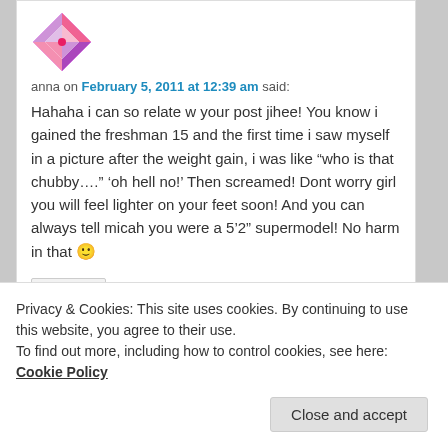[Figure (illustration): Pink and magenta geometric/abstract avatar icon, quilt-like pattern]
anna on February 5, 2011 at 12:39 am said:
Hahaha i can so relate w your post jihee! You know i gained the freshman 15 and the first time i saw myself in a picture after the weight gain, i was like “who is that chubby….” ‘oh hell no!’ Then screamed! Dont worry girl you will feel lighter on your feet soon! And you can always tell micah you were a 5’2” supermodel! No harm in that 🙂
Reply ↓
Privacy & Cookies: This site uses cookies. By continuing to use this website, you agree to their use.
To find out more, including how to control cookies, see here: Cookie Policy
Close and accept